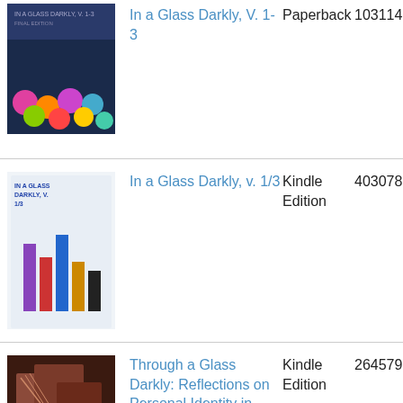| Image | Title | Format | ASIN | Price |
| --- | --- | --- | --- | --- |
| [book cover] | In a Glass Darkly, V. 1-3 | Paperback | 10311418 | $3... |
| [book cover] | In a Glass Darkly, v. 1/3 | Kindle Edition | 4030788 |  |
| [book cover] | Through a Glass Darkly: Reflections on Personal Identity in Early America (Published by the Omohundro Institute of Early American History and | Kindle Edition | 2645799 |  |